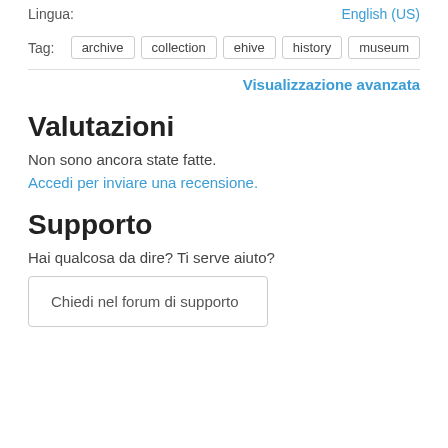Lingua: English (US)
Tag: archive collection ehive history museum
Visualizzazione avanzata
Valutazioni
Non sono ancora state fatte.
Accedi per inviare una recensione.
Supporto
Hai qualcosa da dire? Ti serve aiuto?
Chiedi nel forum di supporto